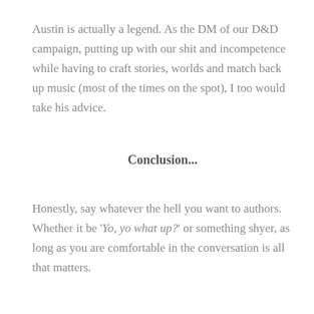Austin is actually a legend. As the DM of our D&D campaign, putting up with our shit and incompetence while having to craft stories, worlds and match back up music (most of the times on the spot), I too would take his advice.
Conclusion...
Honestly, say whatever the hell you want to authors. Whether it be 'Yo, yo what up?' or something shyer, as long as you are comfortable in the conversation is all that matters.